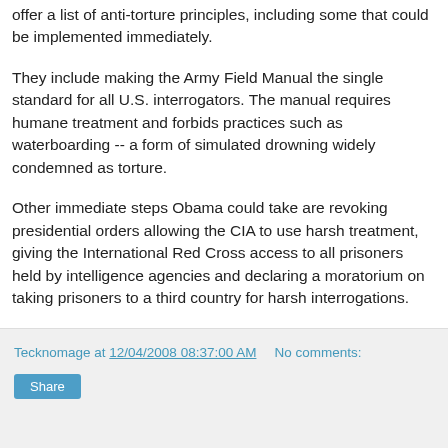offer a list of anti-torture principles, including some that could be implemented immediately.
They include making the Army Field Manual the single standard for all U.S. interrogators. The manual requires humane treatment and forbids practices such as waterboarding -- a form of simulated drowning widely condemned as torture.
Other immediate steps Obama could take are revoking presidential orders allowing the CIA to use harsh treatment, giving the International Red Cross access to all prisoners held by intelligence agencies and declaring a moratorium on taking prisoners to a third country for harsh interrogations.
Tecknomage at 12/04/2008 08:37:00 AM   No comments:  Share